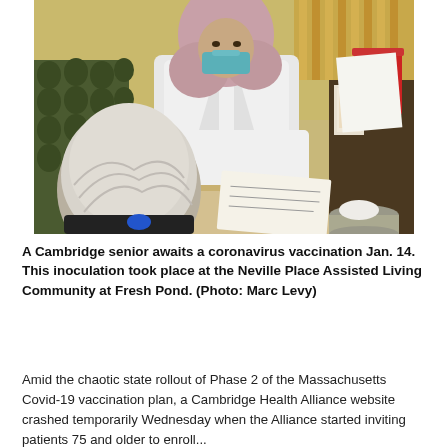[Figure (photo): A healthcare worker wearing a white lab coat, hijab, and teal face mask prepares paperwork at a table while an elderly person with white hair sits in front of them, awaiting a coronavirus vaccination. The setting appears to be an assisted living facility with warm yellow-green walls, patterned chairs, and medical supplies visible in the background.]
A Cambridge senior awaits a coronavirus vaccination Jan. 14. This inoculation took place at the Neville Place Assisted Living Community at Fresh Pond. (Photo: Marc Levy)
Amid the chaotic state rollout of Phase 2 of the Massachusetts Covid-19 vaccination plan, a Cambridge Health Alliance website crashed temporarily Wednesday when the Alliance started inviting patients 75 and older to enroll...